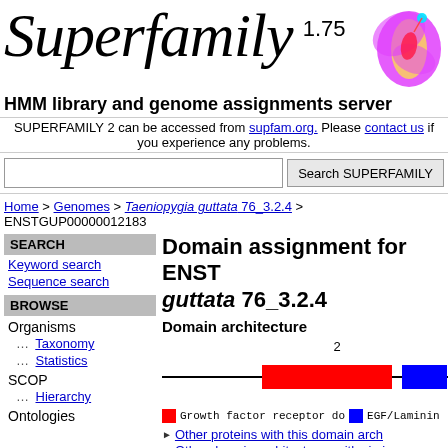Superfamily 1.75
HMM library and genome assignments server
SUPERFAMILY 2 can be accessed from supfam.org. Please contact us if you experience any problems.
Search SUPERFAMILY
Home > Genomes > Taeniopygia guttata 76_3.2.4 > ENSTGUP00000012183
Domain assignment for ENST... guttata 76_3.2.4
Domain architecture
[Figure (schematic): Protein domain architecture diagram showing a horizontal line with a large red rectangle (Growth factor receptor domain) and a smaller blue rectangle (EGF/Laminin) near the right end. Number 2 appears above the red domain.]
Growth factor receptor do  EGF/Laminin
Other proteins with this domain arch
Other domain architectures with simi
SEARCH
Keyword search
Sequence search
BROWSE
Organisms
Taxonomy
Statistics
SCOP
Hierarchy
Ontologies